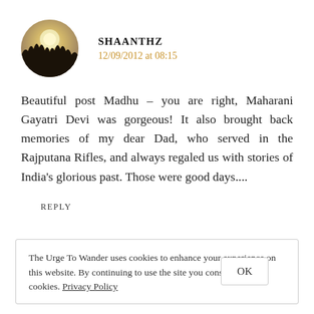[Figure (photo): Circular avatar photo showing a silhouette of trees against a bright sky/sun]
SHAANTHZ
12/09/2012 at 08:15
Beautiful post Madhu – you are right, Maharani Gayatri Devi was gorgeous! It also brought back memories of my dear Dad, who served in the Rajputana Rifles, and always regaled us with stories of India's glorious past. Those were good days....
REPLY
The Urge To Wander uses cookies to enhance your experience on this website. By continuing to use the site you consent to our cookies. Privacy Policy
OK